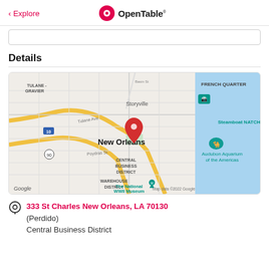< Explore   OpenTable
[Figure (map): Google map showing New Orleans downtown area with a red location pin marker near New Orleans Central Business District. Visible landmarks include French Quarter, Storyville, Steamboat NATCHEZ, Audubon Aquarium of the Americas, The National WWII Museum, Tulane-Gravier neighborhood, Warehouse District. Map data ©2022 Google.]
Details
333 St Charles New Orleans, LA 70130
(Perdido)
Central Business District